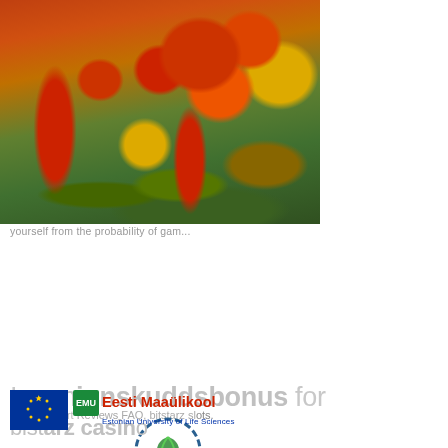[Figure (photo): Photograph of fresh vegetables including tomatoes, red and yellow bell peppers, red chili peppers, cucumber, lettuce, garlic, and other produce arranged on a surface]
ing
tens of
recent
bsites
ites in
omer
Picking
save
We
vith our
[Figure (screenshot): ValorTech website header card on gray background showing 'ValorTech ERA Chair for Food (By-) Products Valorisation Technologies' with hamburger menu icon]
no How
5 Crypto
Casino Short Reviews FAQ, bitstarz slots.
Ingen innskuddsbonus for
bitstarz casino
[Figure (logo): Circular ValorTech logo with green leaf motif]
[Figure (logo): EU flag (blue with yellow stars) and Eesti Maaülikool (Estonian University of Life Sciences) logo with EMU text]
lines on